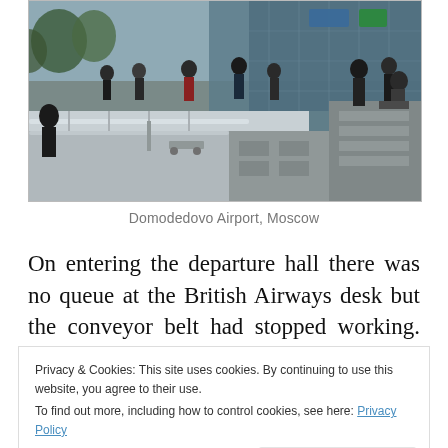[Figure (photo): Photograph of Domodedovo Airport, Moscow — showing an airport departure hall interior with people walking, glass facade building visible in background, luggage conveyors and railings in foreground.]
Domodedovo Airport, Moscow
On entering the departure hall there was no queue at the British Airways desk but the conveyor belt had stopped working. Due to this following check-in, we had to take our luggage to another desk for them to
Privacy & Cookies: This site uses cookies. By continuing to use this website, you agree to their use.
To find out more, including how to control cookies, see here: Privacy Policy
boarding our BA 767-300 Dreamliner which had